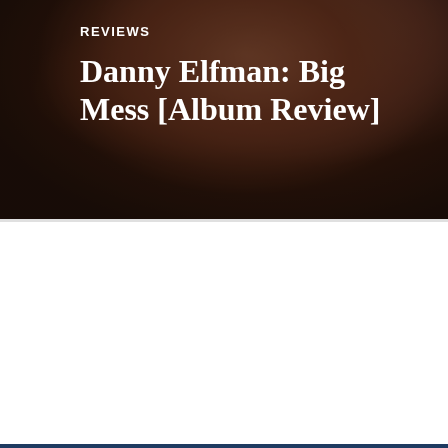[Figure (photo): Dark background photo showing what appears to be hands or organic forms in brown and flesh tones against a very dark background]
REVIEWS
Danny Elfman: Big Mess [Album Review]
[Figure (photo): Dark landscape photo showing a night scene with a rocky terrain, snow patches, distant lights along a horizon, and dark hills in foreground. Album branding overlay reads 'the Mountain Goats Dark in Here' in the upper right.]